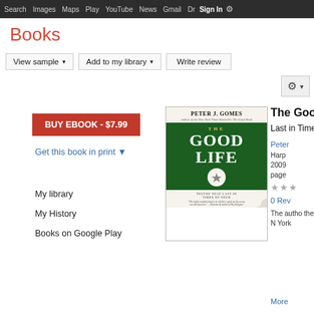Search  Images  Maps  Play  YouTube  News  Gmail  Drive  More  Sign In  ⚙
Books
View sample ▾  Add to my library ▾  Write review  ⚙ ▾
BUY EBOOK - $7.99
Get this book in print ▼
My library
My History
Books on Google Play
[Figure (illustration): Book cover of 'The Good Life: Truths That Last in Times of Need' by Peter J. Gomes, published by HarperOne. Dark green cover with white serif title text.]
The Good Life:
Last in Times of Need
Peter
HarperOne
2009
pages
★★★
0 Reviews
The autho the N York
More